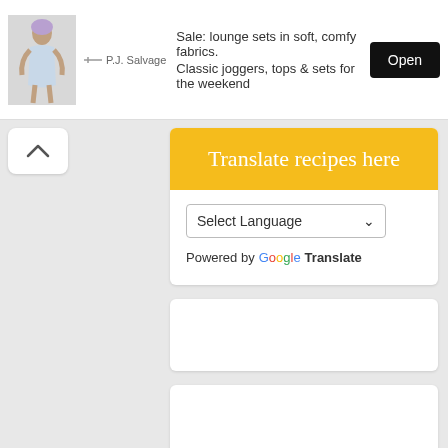[Figure (screenshot): Ad banner for P.J. Salvage showing a woman in loungewear, text about lounge sets and joggers, and an Open button]
[Figure (screenshot): Translate recipes here widget with Select Language dropdown and Powered by Google Translate]
Translate recipes here
Select Language
Powered by Google Translate
[Figure (screenshot): Empty white card widget area]
[Figure (screenshot): Empty white card widget area]
Popular Posts